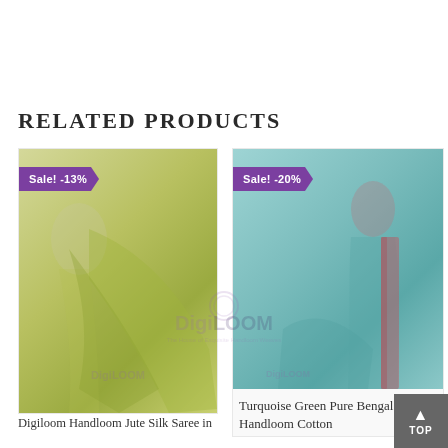RELATED PRODUCTS
[Figure (photo): Digiloom Handloom Jute Silk Saree product photo with Sale! -13% badge, olive/yellow-green colored saree draped on mannequin]
Digiloom Handloom Jute Silk Saree in
[Figure (photo): Turquoise Green Pure Bengal Handloom Cotton saree product photo with Sale! -20% badge, turquoise/teal colored saree with pink border]
Turquoise Green Pure Bengal Handloom Cotton